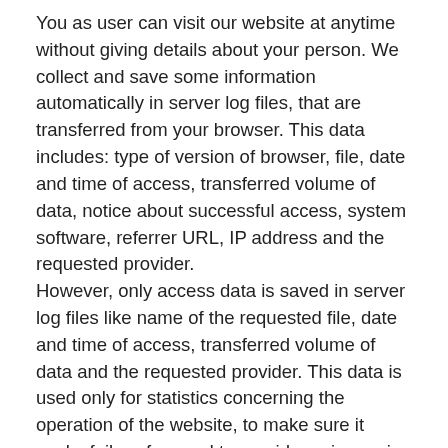You as user can visit our website at anytime without giving details about your person. We collect and save some information automatically in server log files, that are transferred from your browser. This data includes: type of version of browser, file, date and time of access, transferred volume of data, notice about successful access, system software, referrer URL, IP address and the requested provider. However, only access data is saved in server log files like name of the requested file, date and time of access, transferred volume of data and the requested provider. This data is used only for statistics concerning the operation of the website, to make sure it works failure-free and to provide an improving experience on the website. We reserve the right to check log files retrospectively in case of justified suspicion of an illegal development.
Collecting, Saving and Handling your personal data